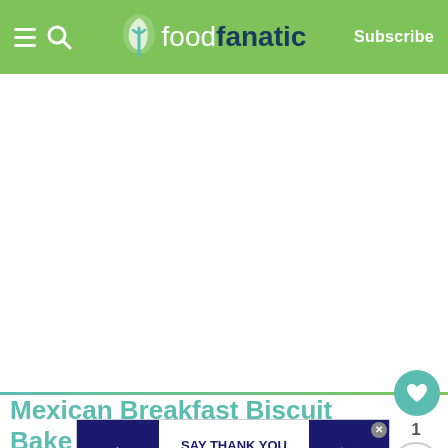foodfanatic — Subscribe
[Figure (screenshot): Large white/blank image area below the header, representing a food photo placeholder]
Mexican Breakfast Biscuit Bake Recipe
This Mexican Bacon, Egg, and Cheese Biscuit Bake is the all-in-one casserole that your weekend breakfast spread is be... ...ac... egg... it's a
[Figure (illustration): Advertisement banner: Operation Gratitude 'SAY THANK YOU TO DEPLOYED TROOPS' with patriotic imagery and an X close button]